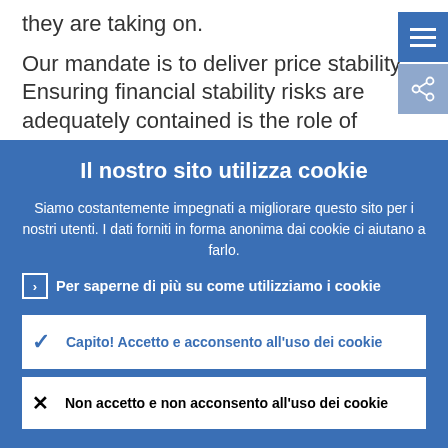they are taking on.
Our mandate is to deliver price stability. Ensuring financial stability risks are adequately contained is the role of banking
Il nostro sito utilizza cookie
Siamo costantemente impegnati a migliorare questo sito per i nostri utenti. I dati forniti in forma anonima dai cookie ci aiutano a farlo.
Per saperne di più su come utilizziamo i cookie
Capito! Accetto e acconsento all'uso dei cookie
Non accetto e non acconsento all'uso dei cookie